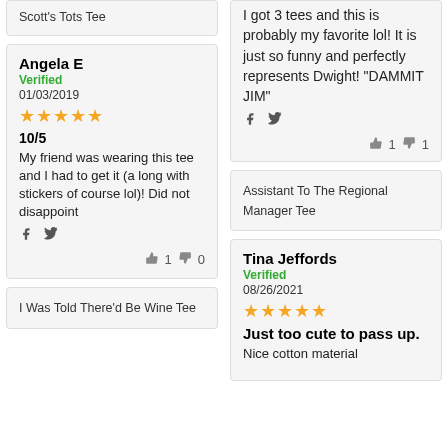Scott's Tots Tee
Angela E
Verified
01/03/2019
★★★★★
10/5
My friend was wearing this tee and I had to get it (a long with stickers of course lol)! Did not disappoint
I Was Told There'd Be Wine Tee
I got 3 tees and this is probably my favorite lol! It is just so funny and perfectly represents Dwight! "DAMMIT JIM"
Assistant To The Regional Manager Tee
Tina Jeffords
Verified
08/26/2021
★★★★★
Just too cute to pass up.
Nice cotton material...